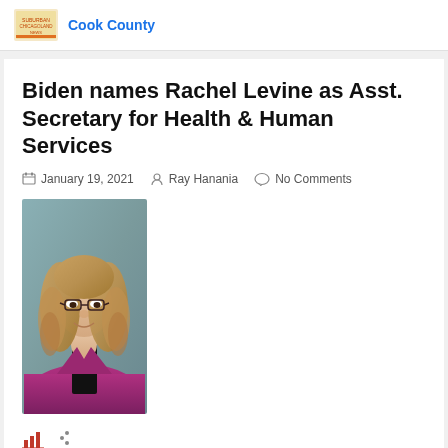Cook County
Biden names Rachel Levine as Asst. Secretary for Health & Human Services
January 19, 2021  Ray Hanania  No Comments
[Figure (photo): Portrait photo of Rachel Levine wearing glasses and a magenta/purple blazer with curly blonde hair, against a muted blue-grey background.]
Biden names Rachel Levine as Asst. Secretary for Health & Human Services. Beckoning would be the first...